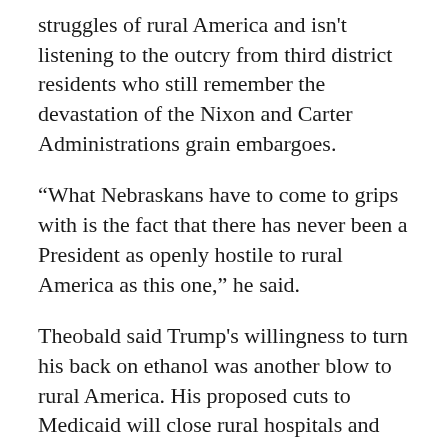struggles of rural America and isn't listening to the outcry from third district residents who still remember the devastation of the Nixon and Carter Administrations grain embargoes.
“What Nebraskans have to come to grips with is the fact that there has never been a President as openly hostile to rural America as this one,” he said.
Theobald said Trump's willingness to turn his back on ethanol was another blow to rural America. His proposed cuts to Medicaid will close rural hospitals and nursing homes. His proposed "skinny" budget zeroed out